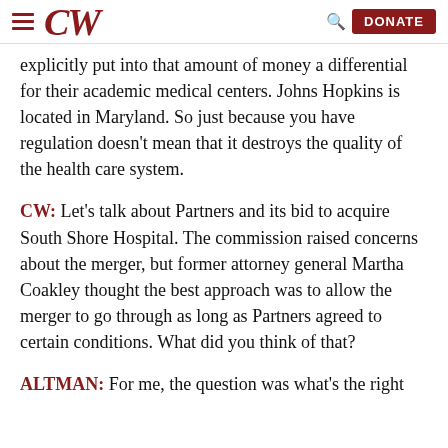CW — DONATE
explicitly put into that amount of money a differential for their academic medical centers. Johns Hopkins is located in Maryland. So just because you have regulation doesn't mean that it destroys the quality of the health care system.
CW: Let's talk about Partners and its bid to acquire South Shore Hospital. The commission raised concerns about the merger, but former attorney general Martha Coakley thought the best approach was to allow the merger to go through as long as Partners agreed to certain conditions. What did you think of that?
ALTMAN: For me, the question was what's the right